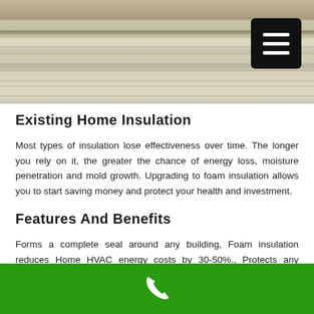[Figure (photo): Photograph of building insulation material — rows of reflective foil-faced insulation batts laid across wooden framing members]
Existing Home Insulation
Most types of insulation lose effectiveness over time. The longer you rely on it, the greater the chance of energy loss, moisture penetration and mold growth. Upgrading to foam insulation allows you to start saving money and protect your health and investment.
Features And Benefits
Forms a complete seal around any building, Foam insulation reduces Home HVAC energy costs by 30-50%., Protects any property from mold innovations and development, Owners now have more control over a room environment, Requires minimal space and is easy to install., Has exceptional durability, it can last for several decades., It has an overall higher value and is a smarter investment than other types of insulation.
Phone contact footer bar